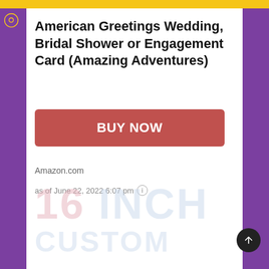American Greetings Wedding, Bridal Shower or Engagement Card (Amazing Adventures)
BUY NOW
Amazon.com
as of June 22, 2022 6:07 pm
[Figure (other): Watermark text reading '16 INCH' and partial text below, in light pastel colors]